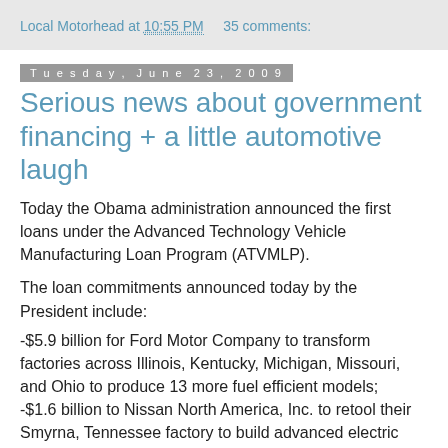Local Motorhead at 10:55 PM   35 comments:
Tuesday, June 23, 2009
Serious news about government financing + a little automotive laugh
Today the Obama administration announced the first loans under the Advanced Technology Vehicle Manufacturing Loan Program (ATVMLP).
The loan commitments announced today by the President include:
-$5.9 billion for Ford Motor Company to transform factories across Illinois, Kentucky, Michigan, Missouri, and Ohio to produce 13 more fuel efficient models;
-$1.6 billion to Nissan North America, Inc. to retool their Smyrna, Tennessee factory to build advanced electric automobiles and to build an advanced battery manufacturing facility and...